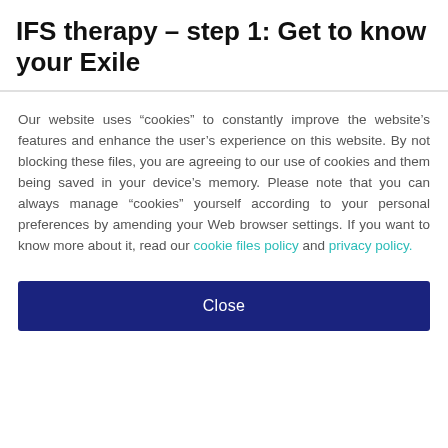IFS therapy – step 1: Get to know your Exile
Our website uses “cookies” to constantly improve the website’s features and enhance the user’s experience on this website. By not blocking these files, you are agreeing to our use of cookies and them being saved in your device’s memory. Please note that you can always manage “cookies” yourself according to your personal preferences by amending your Web browser settings. If you want to know more about it, read our cookie files policy and privacy policy.
Close